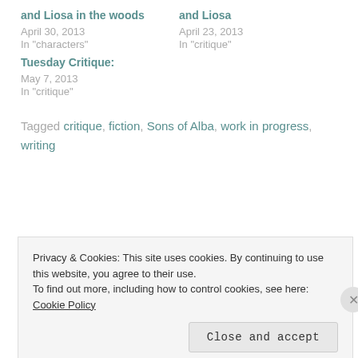and Liosa in the woods
April 30, 2013
In "characters"
and Liosa
April 23, 2013
In "critique"
Tuesday Critique:
May 7, 2013
In "critique"
Tagged critique, fiction, Sons of Alba, work in progress, writing
Published by erinemhatton
Privacy & Cookies: This site uses cookies. By continuing to use this website, you agree to their use. To find out more, including how to control cookies, see here: Cookie Policy
Close and accept